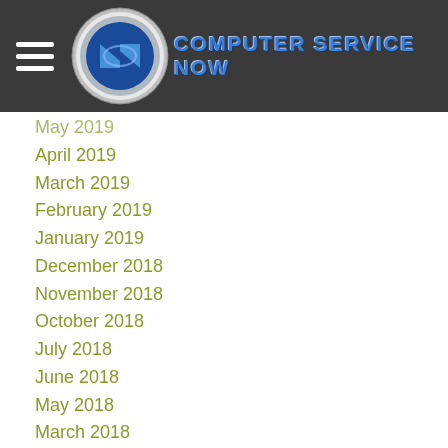Computer Service Now
May 2019
April 2019
March 2019
February 2019
January 2019
December 2018
November 2018
October 2018
July 2018
June 2018
May 2018
March 2018
January 2018
December 2017
October 2017
September 2017
August 2017
July 2017
June 2017
May 2017
April 2017
March 2017
February 2017